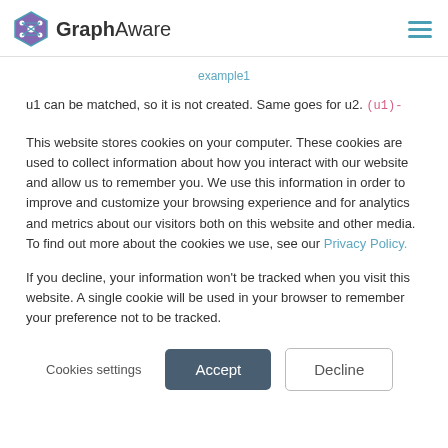GraphAware
example1
u1 can be matched, so it is not created. Same goes for u2. (u1)-[:FRIEND]->(u2) exists, so it is not created. Then the final part
This website stores cookies on your computer. These cookies are used to collect information about how you interact with our website and allow us to remember you. We use this information in order to improve and customize your browsing experience and for analytics and metrics about our visitors both on this website and other media. To find out more about the cookies we use, see our Privacy Policy.
If you decline, your information won't be tracked when you visit this website. A single cookie will be used in your browser to remember your preference not to be tracked.